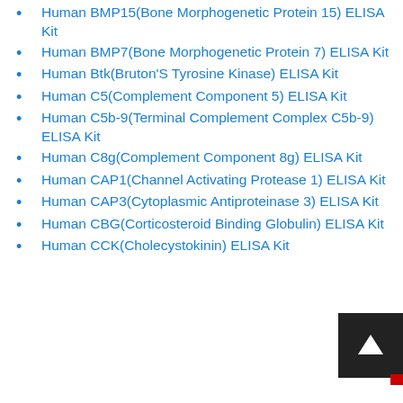Human BMP15(Bone Morphogenetic Protein 15) ELISA Kit
Human BMP7(Bone Morphogenetic Protein 7) ELISA Kit
Human Btk(Bruton'S Tyrosine Kinase) ELISA Kit
Human C5(Complement Component 5) ELISA Kit
Human C5b-9(Terminal Complement Complex C5b-9) ELISA Kit
Human C8g(Complement Component 8g) ELISA Kit
Human CAP1(Channel Activating Protease 1) ELISA Kit
Human CAP3(Cytoplasmic Antiproteinase 3) ELISA Kit
Human CBG(Corticosteroid Binding Globulin) ELISA Kit
Human CCK(Cholecystokinin) ELISA Kit